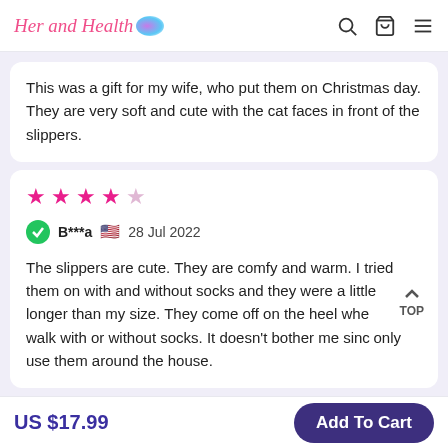Her and Health
This was a gift for my wife, who put them on Christmas day. They are very soft and cute with the cat faces in front of the slippers.
★★★★☆ B***a 🇺🇸 28 Jul 2022 — The slippers are cute. They are comfy and warm. I tried them on with and without socks and they were a little longer than my size. They come off on the heel whe walk with or without socks. It doesn't bother me sinc only use them around the house.
US $17.99  Add To Cart